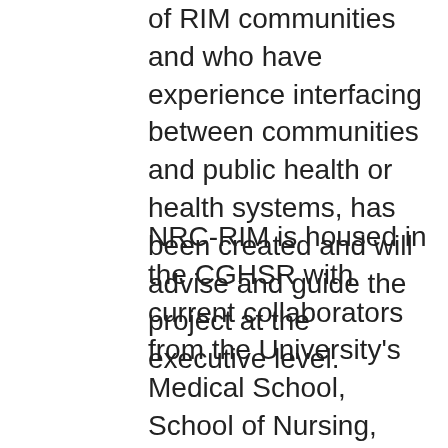of RIM communities and who have experience interfacing between communities and public health or health systems, has been created and will advise and guide the project at the executive level.
NRC-RIM is housed in the CGHSR with current collaborators from the University's Medical School, School of Nursing, School of Public Health, College of Education and Human Development, and the Upper Midwest Agricultural Safety and Health. Subawardees of the CDC funding include the Minnesota Department of Health, International Roma Committee, Minn et Clinici...